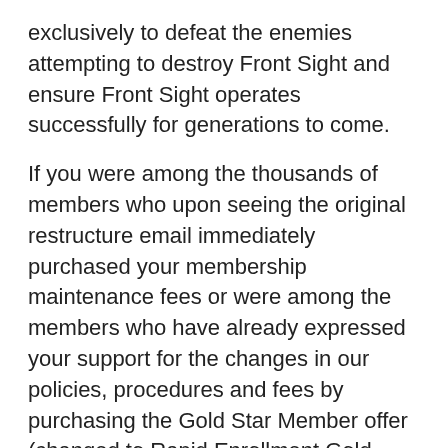exclusively to defeat the enemies attempting to destroy Front Sight and ensure Front Sight operates successfully for generations to come.
If you were among the thousands of members who upon seeing the original restructure email immediately purchased your membership maintenance fees or were among the members who have already expressed your support for the changes in our policies, procedures and fees by purchasing the Gold Star Member offer (changed to Rapid Enrollment Gold Status Member to not conflict with military and law enforcement Gold Star meaning) you do not need to purchase the Gold Status Member offer as you have already designated your support and willingness to accept the changes in exchange for Front Sight essentially double refunding your past purchases, into much more usable and flexible F$ Bucks and FS Coins. However, if you wish to show